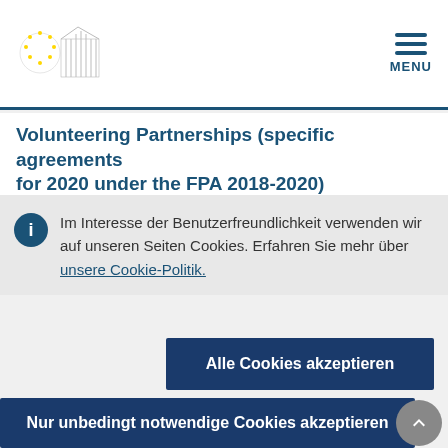European Commission logo and MENU button
Volunteering Partnerships (specific agreements for 2020 under the FPA 2018-2020)
Im Interesse der Benutzerfreundlichkeit verwenden wir auf unseren Seiten Cookies. Erfahren Sie mehr über unsere Cookie-Politik.
Alle Cookies akzeptieren
Nur unbedingt notwendige Cookies akzeptieren